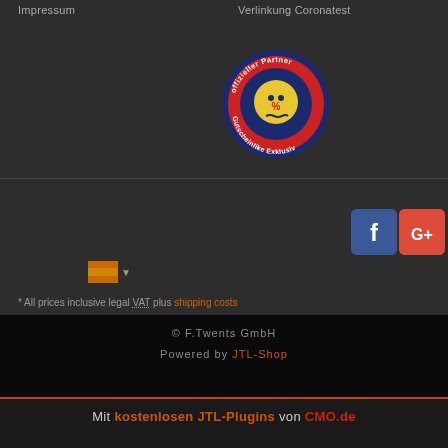Impressum
Verlinkung Coronatest
[Figure (logo): Round badge/seal reading 'offizieller Partner Gutscheinlike Exklusiv' with a yellow ghost icon in the center on dark blue/red background]
[Figure (logo): Facebook social media icon (white F on blue rounded square)]
[Figure (logo): Google Plus social media icon (white G+ on red rounded square)]
* All prices inclusive legal VAT plus shipping costs
© F.Twents GmbH
Powered by JTL-Shop
Mit kostenlosen JTL-Plugins von CMO.de